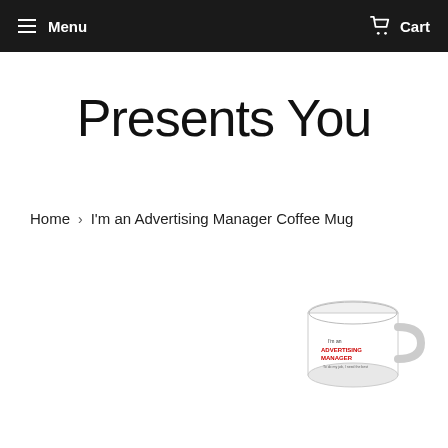Menu  Cart
Presents You
Home › I'm an Advertising Manager Coffee Mug
[Figure (photo): A white coffee mug with text reading "I'm an Advertising Manager" in red/black lettering, shown at an angle on a white background]